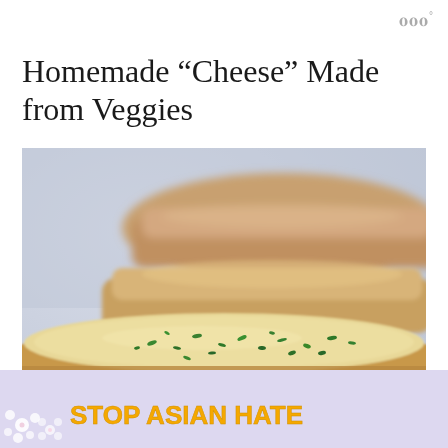w°
Homemade “Cheese” Made from Veggies
[Figure (photo): Close-up photograph of bread slices topped with creamy veggie-based cheese spread and chopped green chives, with more bread loaves blurred in the background]
[Figure (infographic): Advertisement banner reading STOP ASIAN HATE with anime-style character illustration, flower decorations, and close buttons]